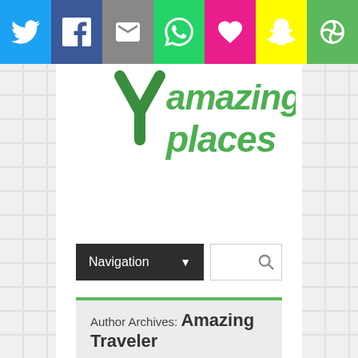[Figure (screenshot): Social sharing toolbar with Twitter, Facebook, Email, WhatsApp, Heart/Like, Snapchat, and another icon buttons in colored boxes]
[Figure (logo): Amazing Places logo with green checkmark/Y shape and green bold italic text reading 'amazing places']
[Figure (screenshot): Navigation dropdown button (dark background, white text 'Navigation' with dropdown arrow) and a search input box with magnifying glass icon]
Author Archives: Amazing Traveler